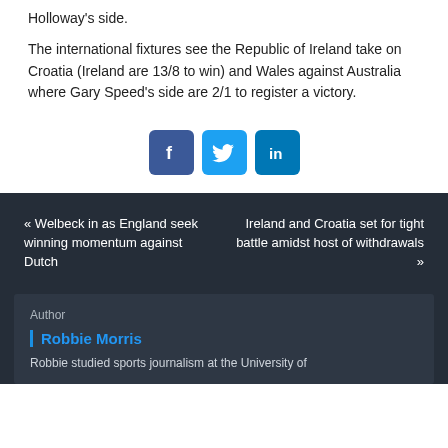Holloway's side.
The international fixtures see the Republic of Ireland take on Croatia (Ireland are 13/8 to win) and Wales against Australia where Gary Speed's side are 2/1 to register a victory.
[Figure (infographic): Social media share buttons for Facebook, Twitter, and LinkedIn]
« Welbeck in as England seek winning momentum against Dutch
Ireland and Croatia set for tight battle amidst host of withdrawals »
Author
Robbie Morris
Robbie studied sports journalism at the University of